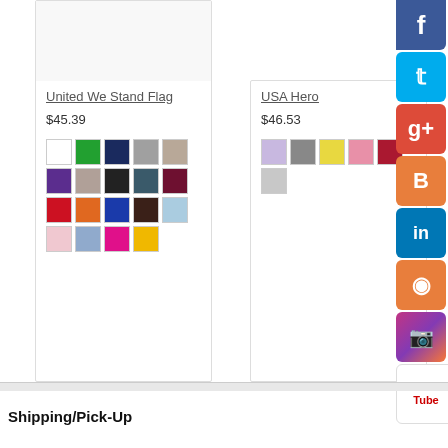[Figure (screenshot): Product card for United We Stand Flag showing color swatches]
United We Stand Flag
$45.39
[Figure (screenshot): Product card for USA Hero showing color swatches]
USA Hero
$46.53
[Figure (screenshot): Social media icon bar with Facebook, Twitter, Google+, Blogger, LinkedIn, RSS, Instagram, YouTube]
Shipping/Pick-Up